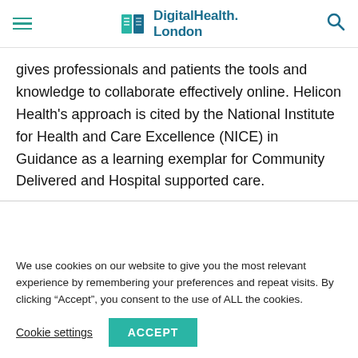DigitalHealth.London
gives professionals and patients the tools and knowledge to collaborate effectively online. Helicon Health’s approach is cited by the National Institute for Health and Care Excellence (NICE) in Guidance as a learning exemplar for Community Delivered and Hospital supported care.
We use cookies on our website to give you the most relevant experience by remembering your preferences and repeat visits. By clicking “Accept”, you consent to the use of ALL the cookies.
Cookie settings  ACCEPT